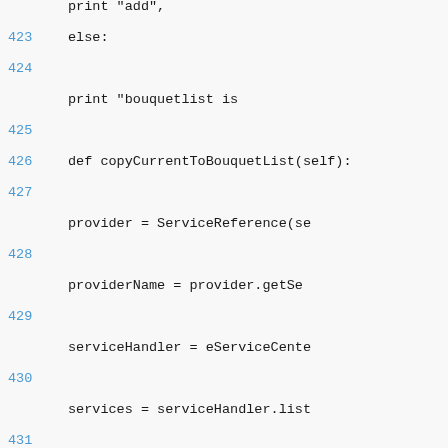Code listing lines 423–433, Python source code showing else block, copyCurrentToBouquetList method, and removeAlternativeServices method definition
423    else:
424        print "bouquetlist is
425
426    def copyCurrentToBouquetList(self):
427        provider = ServiceReference(se
428        providerName = provider.getSe
429        serviceHandler = eServiceCente
430        services = serviceHandler.list
431        self.addBouquet(providerName,
432
433    def removeAlternativeServices(self):